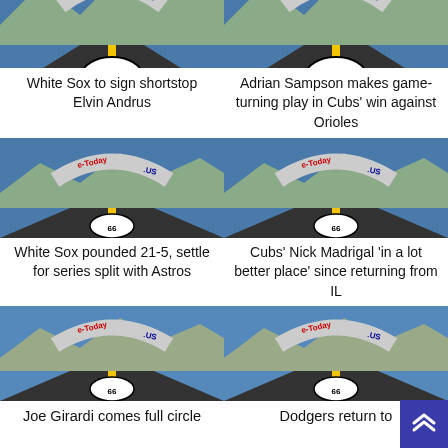[Figure (photo): Route 66 road sign image with e-Today.US logo arch (top cropped)]
[Figure (photo): Route 66 road sign image with e-Today.US logo arch (top cropped)]
White Sox to sign shortstop Elvin Andrus
Adrian Sampson makes game-turning play in Cubs' win against Orioles
[Figure (photo): Route 66 road sign image with e-Today.US logo arch]
[Figure (photo): Route 66 road sign image with e-Today.US logo arch]
White Sox pounded 21-5, settle for series split with Astros
Cubs' Nick Madrigal 'in a lot better place' since returning from IL
[Figure (photo): Route 66 road sign image with e-Today.US logo arch]
[Figure (photo): Route 66 road sign image with e-Today.US logo arch]
Joe Girardi comes full circle
Dodgers return to